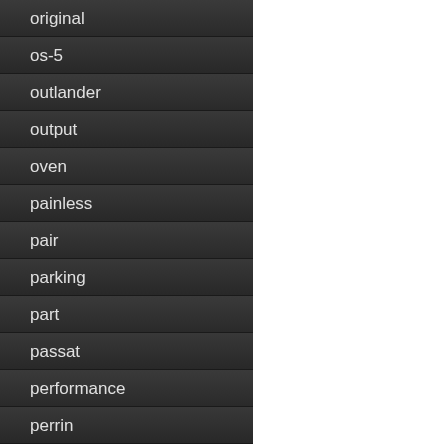original
os-5
outlander
output
oven
painless
pair
parking
part
passat
performance
perrin